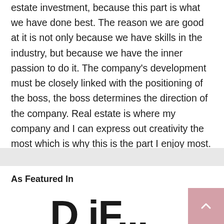estate investment, because this part is what we have done best. The reason we are good at it is not only because we have skills in the industry, but because we have the inner passion to do it. The company's development must be closely linked with the positioning of the boss, the boss determines the direction of the company. Real estate is where my company and I can express out creativity the most which is why this is the part I enjoy most.
As Featured In